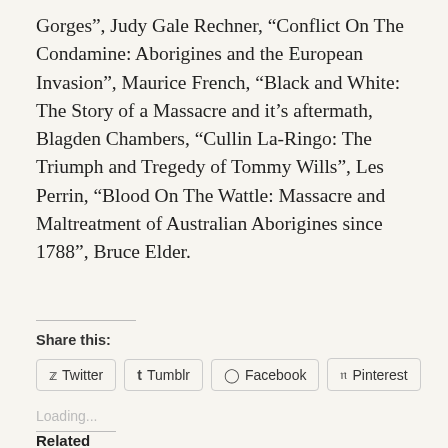Gorges”, Judy Gale Rechner, “Conflict On The Condamine: Aborigines and the European Invasion”, Maurice French, “Black and White: The Story of a Massacre and it’s aftermath, Blagden Chambers, “Cullin La-Ringo: The Triumph and Tregedy of Tommy Wills”, Les Perrin, “Blood On The Wattle: Massacre and Maltreatment of Australian Aborigines since 1788”, Bruce Elder.
Share this:
Twitter
Tumblr
Facebook
Pinterest
Loading...
Related